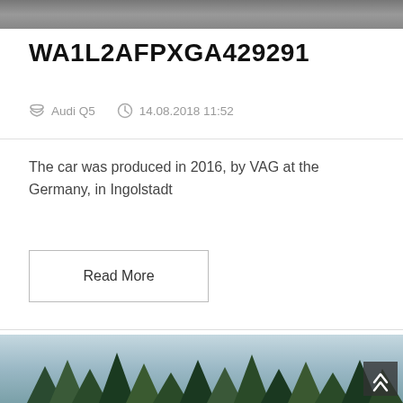[Figure (photo): Top portion of a car photo, showing a dark gray/asphalt surface]
WA1L2AFPXGA429291
Audi Q5    14.08.2018 11:52
The car was produced in 2016, by VAG at the Germany, in Ingolstadt
Read More
[Figure (photo): Bottom portion showing a car scene with trees and sky in the background]